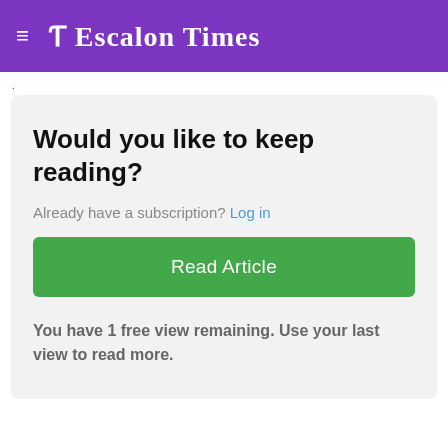≡ Escalon Times
.
Would you like to keep reading?
Already have a subscription? Log in
Read Article
You have 1 free view remaining. Use your last view to read more.